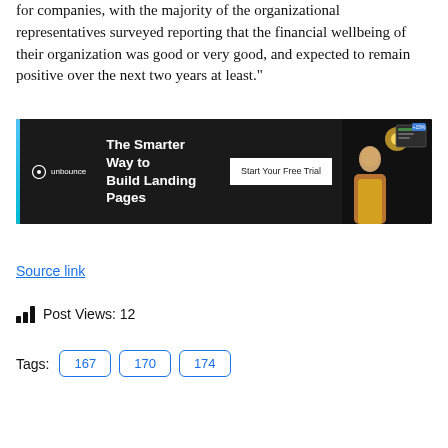for companies, with the majority of the organizational representatives surveyed reporting that the financial wellbeing of their organization was good or very good, and expected to remain positive over the next two years at least."
[Figure (other): Unbounce advertisement banner: dark background with Unbounce logo, headline 'The Smarter Way to Build Landing Pages', a 'Start Your Free Trial' button, and an image of a person with floating UI screenshots.]
Source link
Post Views: 12
Tags: 167 170 174